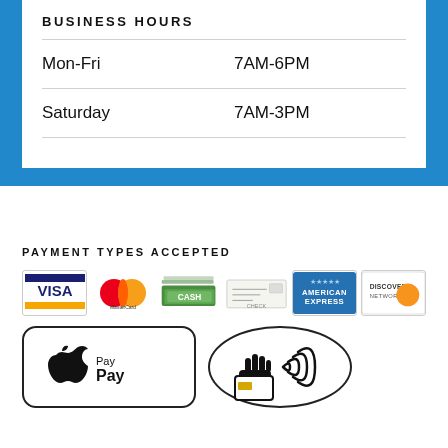BUSINESS HOURS
| Mon-Fri | 7AM-6PM |
| Saturday | 7AM-3PM |
PAYMENT TYPES ACCEPTED
[Figure (infographic): Payment type icons: Visa, MasterCard, Cash, Check, American Express, Discover]
[Figure (infographic): Apple Pay logo in rounded rectangle and contactless payment icon in circle]